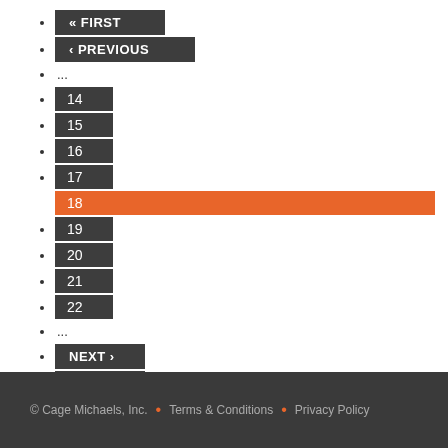« FIRST
‹ PREVIOUS
...
14
15
16
17
18
19
20
21
22
...
NEXT ›
LAST »
© Cage Michaels, Inc.  •  Terms & Conditions  •  Privacy Policy